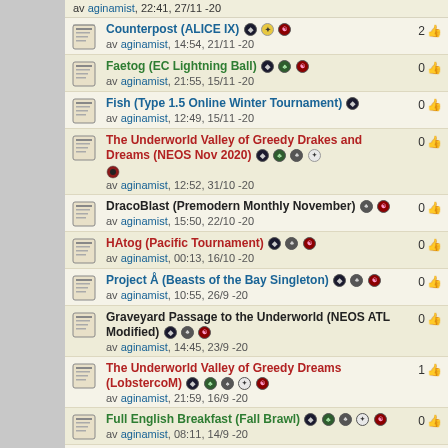av aginamist, 22:41, 27/11 -20
Counterpost (ALICE IX) — av aginamist, 14:54, 21/11 -20 — 2 thumbs
Faetog (EC Lightning Ball) — av aginamist, 21:55, 15/11 -20 — 0 thumbs
Fish (Type 1.5 Online Winter Tournament) — av aginamist, 12:49, 15/11 -20 — 0 thumbs
The Underworld Valley of Greedy Drakes and Dreams (NEOS Nov 2020) — av aginamist, 12:52, 31/10 -20 — 0 thumbs
DracoBlast (Premodern Monthly November) — av aginamist, 15:50, 22/10 -20 — 0 thumbs
HAtog (Pacific Tournament) — av aginamist, 00:13, 16/10 -20 — 0 thumbs
Project Å (Beasts of the Bay Singleton) — av aginamist, 10:55, 26/9 -20 — 0 thumbs
Graveyard Passage to the Underworld (NEOS ATL Modified) — av aginamist, 14:45, 23/9 -20 — 0 thumbs
The Underworld Valley of Greedy Dreams (LobstercoM) — av aginamist, 21:59, 16/9 -20 — 1 thumbs
Full English Breakfast (Fall Brawl) — av aginamist, 08:11, 14/9 -20 — 0 thumbs
Necro (ALICE VIII) — 0 thumbs